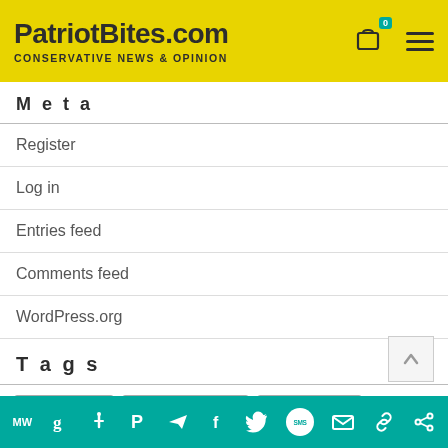PatriotBites.com — CONSERVATIVE NEWS & OPINION
Meta
Register
Log in
Entries feed
Comments feed
WordPress.org
Tags
#AIRPORTGATE
#APPOINTELECTORS
#BUILTTHEWALL
#COLONIALFLAG
#COVID
#CROSSTHERUBICON
#DARKWINTER
MW  g  i  P  (telegram)  f  (twitter)  SMS  (mail)  (link)  (share)